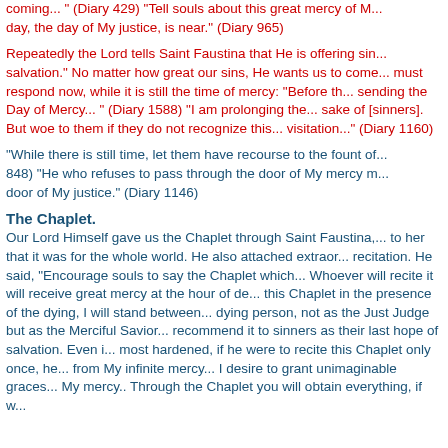coming... " (Diary 429) "Tell souls about this great mercy of M... day, the day of My justice, is near." (Diary 965)
Repeatedly the Lord tells Saint Faustina that He is offering sin... salvation." No matter how great our sins, He wants us to come... must respond now, while it is still the time of mercy: "Before th... sending the Day of Mercy... " (Diary 1588) "I am prolonging the... sake of [sinners]. But woe to them if they do not recognize this... visitation..." (Diary 1160)
"While there is still time, let them have recourse to the fount of... 848) "He who refuses to pass through the door of My mercy m... door of My justice." (Diary 1146)
The Chaplet.
Our Lord Himself gave us the Chaplet through Saint Faustina,... to her that it was for the whole world. He also attached extraor... recitation. He said, "Encourage souls to say the Chaplet which... Whoever will recite it will receive great mercy at the hour of de... this Chaplet in the presence of the dying, I will stand between... dying person, not as the Just Judge but as the Merciful Savior... recommend it to sinners as their last hope of salvation. Even i... most hardened, if he were to recite this Chaplet only once, he... from My infinite mercy... I desire to grant unimaginable graces... My mercy.. Through the Chaplet you will obtain everything, if w...